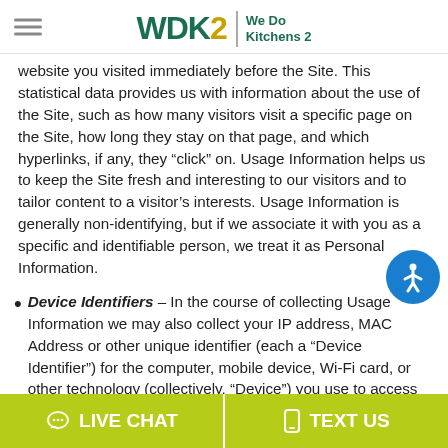WDK2 | We Do Kitchens 2
website you visited immediately before the Site. This statistical data provides us with information about the use of the Site, such as how many visitors visit a specific page on the Site, how long they stay on that page, and which hyperlinks, if any, they “click” on. Usage Information helps us to keep the Site fresh and interesting to our visitors and to tailor content to a visitor’s interests. Usage Information is generally non-identifying, but if we associate it with you as a specific and identifiable person, we treat it as Personal Information.
Device Identifiers – In the course of collecting Usage Information we may also collect your IP address, MAC Address or other unique identifier (each a “Device Identifier”) for the computer, mobile device, Wi-Fi card, or other technology (collectively, “Device”) you use to access the Site. A Device Identifier is a number that is automatically assigned to
LIVE CHAT   TEXT US